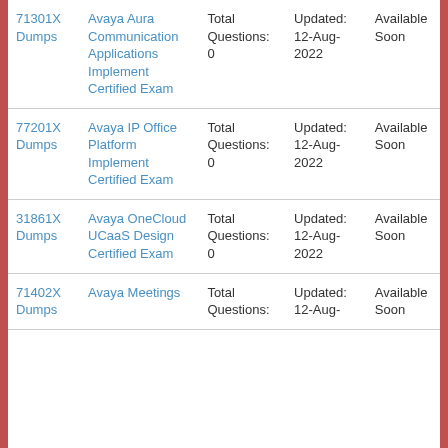| Code | Name | Questions | Updated | Availability |
| --- | --- | --- | --- | --- |
| 71301X Dumps | Avaya Aura Communication Applications Implement Certified Exam | Total Questions: 0 | Updated: 12-Aug-2022 | Available Soon |
| 77201X Dumps | Avaya IP Office Platform Implement Certified Exam | Total Questions: 0 | Updated: 12-Aug-2022 | Available Soon |
| 31861X Dumps | Avaya OneCloud UCaaS Design Certified Exam | Total Questions: 0 | Updated: 12-Aug-2022 | Available Soon |
| 71402X Dumps | Avaya Meetings | Total Questions: | Updated: 12-Aug- | Available Soon |